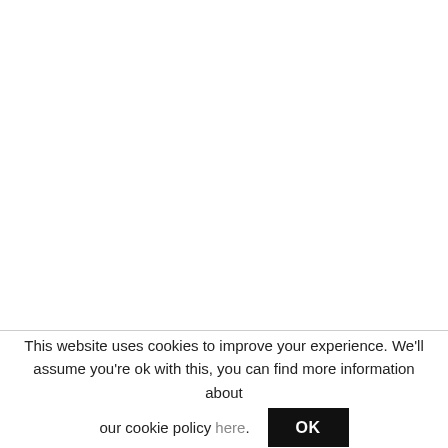This website uses cookies to improve your experience. We'll assume you're ok with this, you can find more information about our cookie policy here. OK